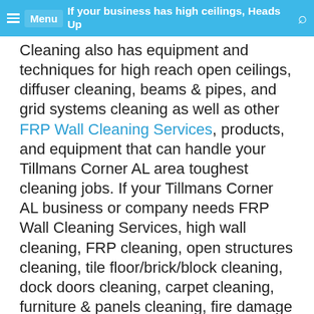If your business has high ceilings, Heads Up Cleaning also has equipment and techniques for high reach open ceilings, diffuser cleaning, beams & pipes, and grid systems cleaning as well as other FRP Wall Cleaning Services, products, and equipment that can handle your Tillmans Corner AL area toughest cleaning jobs. If your Tillmans Corner AL business or company needs FRP Wall Cleaning Services, high wall cleaning, FRP cleaning, open structures cleaning, tile floor/brick/block cleaning, dock doors cleaning, carpet cleaning, furniture & panels cleaning, fire damage cleaning, light fixture cleaning, fabric partition cleaning and other structure cleaning, contact Heads Up Cleaning.